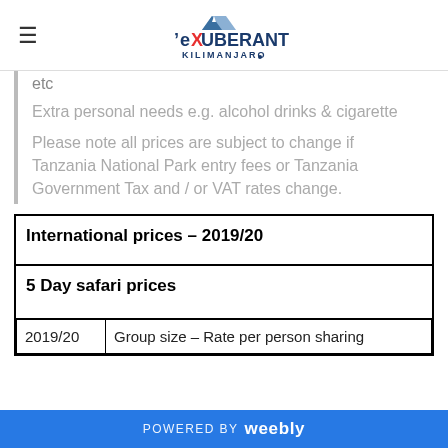Exuberant Kilimanjaro logo and hamburger menu
etc
Extra personal needs e.g. alcohol drinks & cigarette
Please note all prices are subject to change if Tanzania National Park entry fees or Tanzania Government Tax and / or VAT rates change.
| International prices – 2019/20 |
| 5 Day safari prices |
| 2019/20 | Group size – Rate per person sharing |
POWERED BY weebly